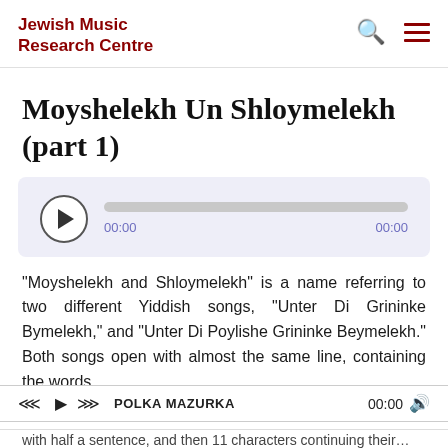Jewish Music Research Centre
Moyshelekh Un Shloymelekh (part 1)
[Figure (other): Audio player widget with play button, progress bar, and time display showing 00:00 / 00:00]
"Moyshelekh and Shloymelekh" is a name referring to two different Yiddish songs, "Unter Di Grininke Bymelekh," and "Unter Di Poylishe Grininke Beymelekh." Both songs open with almost the same line, containing the words
◄◄  ►  ►► POLKA MAZURKA   00:00  🔊